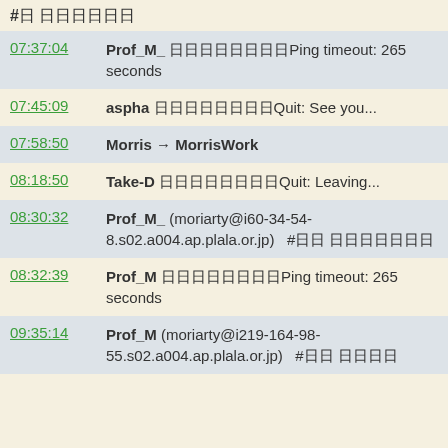#日 日日日日日日
07:37:04 Prof_M_ 日日日日日日日日Ping timeout: 265 seconds
07:45:09 aspha 日日日日日日日日Quit: See you...
07:58:50 Morris → MorrisWork
08:18:50 Take-D 日日日日日日日日Quit: Leaving...
08:30:32 Prof_M_ (moriarty@i60-34-54-8.s02.a004.ap.plala.or.jp)  #日日 日日日日日日
08:32:39 Prof_M 日日日日日日日日Ping timeout: 265 seconds
09:35:14 Prof_M (moriarty@i219-164-98-55.s02.a004.ap.plala.or.jp)  #日日 日日日日